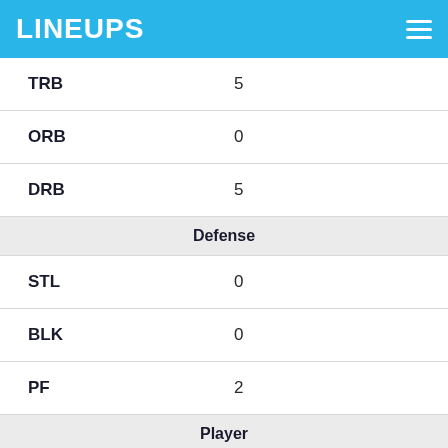LINEUPS
| TRB | 5 |
| ORB | 0 |
| DRB | 5 |
| Defense |  |
| STL | 0 |
| BLK | 0 |
| PF | 2 |
| Player |  |
| DATE | 1-30-22 |
| OPP | at CHI |
| SCORE | L 116-130 |
| MINS | 32 |